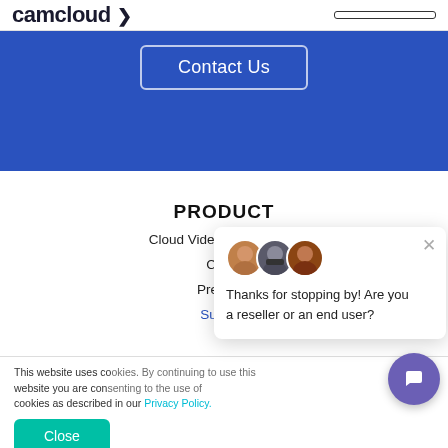camcloud
[Figure (screenshot): Blue banner with Contact Us button outlined in white on blue background]
PRODUCT
Cloud Video Surveilla...
Cloud ...
Premium...
Support...
[Figure (screenshot): Chat popup with three avatars and message: Thanks for stopping by! Are you a reseller or an end user?]
This website uses cookies. By continuing to use this website you are consenting to the use of cookies as described in our Privacy Policy.
[Figure (screenshot): Close button (teal/green) and floating purple chat button]